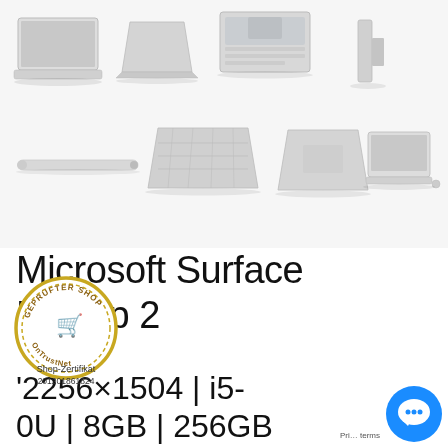[Figure (photo): Product photo collage showing Microsoft Surface Laptop 2 from multiple angles: front open view, side angle view, top-down view, side closed view, bottom/spine view, keyboard top view, back angled view, and front display view.]
Microsoft Surface Laptop 2
'2256×1504 | i5- 0U | 8GB | 256GB Win 10 | USt. [...]